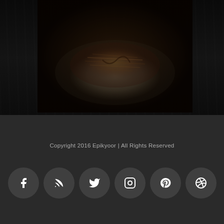[Figure (photo): Food photo showing a dish with shredded meat/pulled pork on a plate with sauce, on a dark wooden table background, darkened/dimmed]
Copyright 2016 Epikyoor | All Rights Reserved
[Figure (infographic): Row of 6 circular social media icon buttons: Facebook, RSS, Twitter, Instagram, Pinterest, Dribbble. Below right is a back-to-top arrow button.]